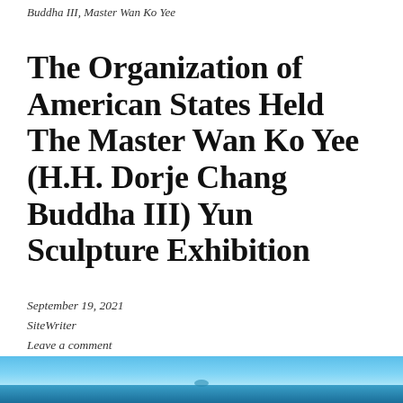Buddha III, Master Wan Ko Yee
The Organization of American States Held The Master Wan Ko Yee (H.H. Dorje Chang Buddha III) Yun Sculpture Exhibition
September 19, 2021
SiteWriter
Leave a comment
[Figure (photo): Bottom strip showing a partial photograph with blue sky and water, likely related to the Yun Sculpture Exhibition event.]